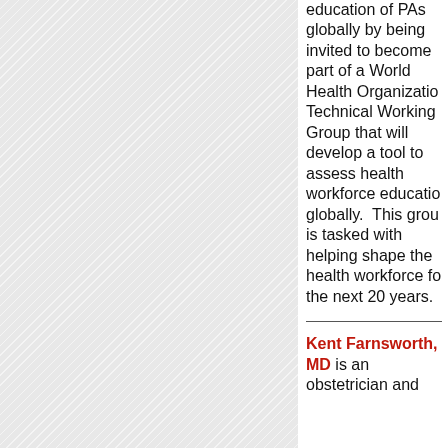[Figure (other): Left column with diagonal hatched grey pattern background]
education of PAs globally by being invited to become part of a World Health Organization Technical Working Group that will develop a tool to assess health workforce education globally. This group is tasked with helping shape the health workforce for the next 20 years.
Kent Farnsworth, MD is an obstetrician and